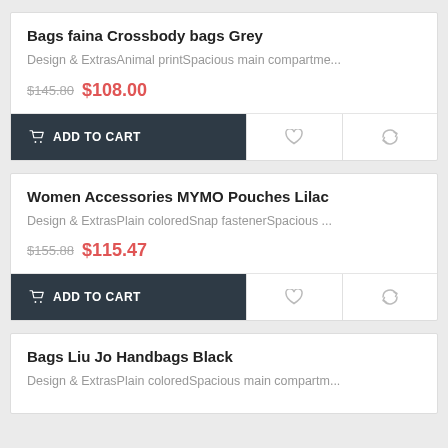Bags faina Crossbody bags Grey
Design & ExtrasAnimal printSpacious main compartme...
$145.80  $108.00
ADD TO CART
Women Accessories MYMO Pouches Lilac
Design & ExtrasPlain coloredSnap fastenerSpacious ...
$155.88  $115.47
ADD TO CART
Bags Liu Jo Handbags Black
Design & ExtrasPlain coloredSpacious main compartm...